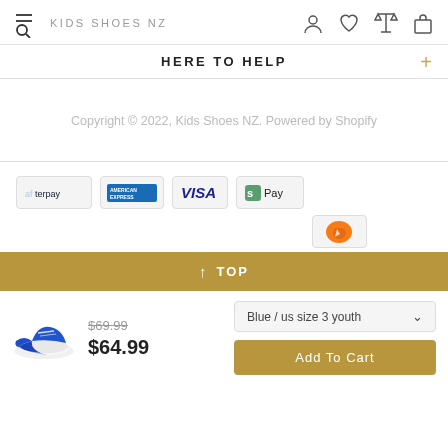KIDS SHOES NZ
HERE TO HELP
Copyright © 2022, Kids Shoes NZ. Powered by Shopify
[Figure (logo): Payment method logos: Afterpay, American Express, Visa, Shop Pay, and an orange payment icon]
↑ TOP
[Figure (photo): Blue kids sneaker shoe]
$69.99 (strikethrough) $64.99
Blue / us size 3 youth
Add To Cart